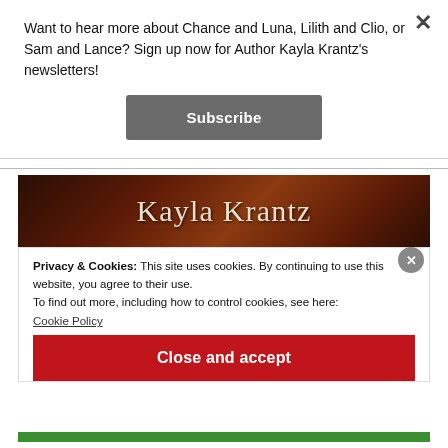Want to hear more about Chance and Luna, Lilith and Clio, or Sam and Lance? Sign up now for Author Kayla Krantz's newsletters!
[Figure (screenshot): Subscribe button (dark grey) centered in newsletter popup modal]
[Figure (screenshot): Kayla Krantz website header with dark wood background and white serif title text 'Kayla Krantz']
Privacy & Cookies: This site uses cookies. By continuing to use this website, you agree to their use.
To find out more, including how to control cookies, see here:
Cookie Policy
[Figure (screenshot): Close and accept button (red) for cookie notice]